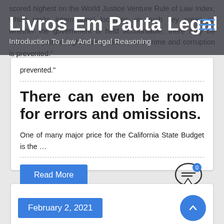Livros Em Pauta Legal — Introduction To Law And Legal Reasoning
scored highest on the World Justice Venture Rule of Law Index, which ranks international locations on such key areas as whether the government is held accountable, there may be access to justice, rights are protected and crime and corruption is prevented."
There can even be room for errors and omissions.
One of many major price for the California State Budget is the …
Read More
February 2, 2021